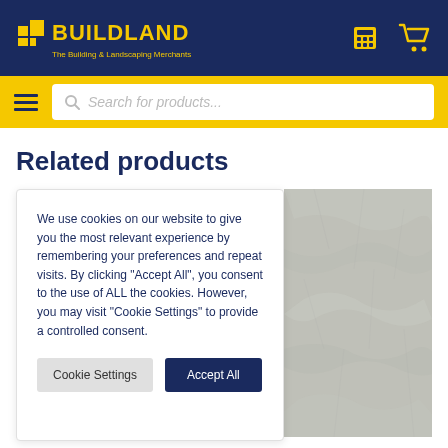BUILDLAND - The Building & Landscaping Merchants
Related products
We use cookies on our website to give you the most relevant experience by remembering your preferences and repeat visits. By clicking "Accept All", you consent to the use of ALL the cookies. However, you may visit "Cookie Settings" to provide a controlled consent.
[Figure (screenshot): Stone/paving material texture image on right side]